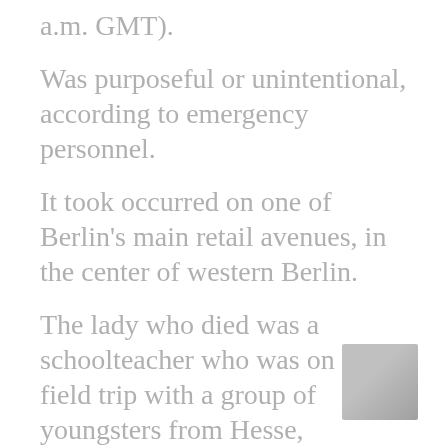a.m. GMT).
Was purposeful or unintentional, according to emergency personnel.
It took occurred on one of Berlin's main retail avenues, in the center of western Berlin.
The lady who died was a schoolteacher who was on a field trip with a group of youngsters from Hesse, Germany's center state.
She died on the scene, according to Berlin police.
[Figure (photo): Small thumbnail image in bottom right corner, partially visible, appears to be a news photo]